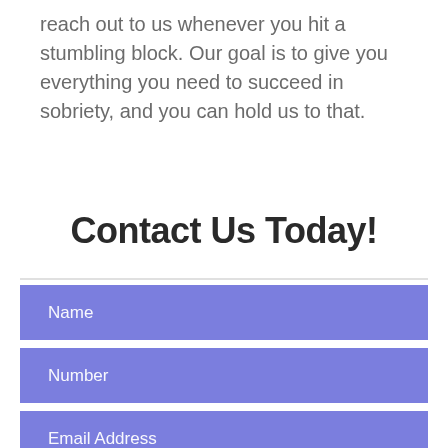reach out to us whenever you hit a stumbling block. Our goal is to give you everything you need to succeed in sobriety, and you can hold us to that.
Contact Us Today!
Name
Number
Email Address